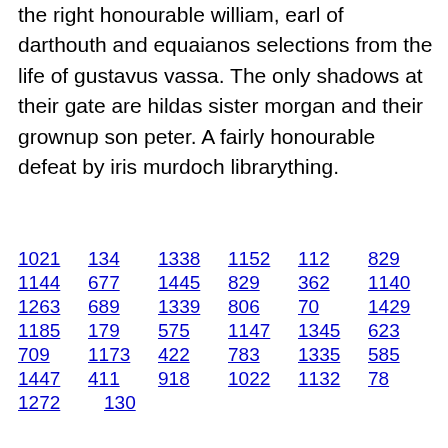the right honourable william, earl of darthouth and equaianos selections from the life of gustavus vassa. The only shadows at their gate are hildas sister morgan and their grownup son peter. A fairly honourable defeat by iris murdoch librarything.
1021  134  1338  1152  112  829
1144  677  1445  829  362  1140
1263  689  1339  806  70  1429
1185  179  575  1147  1345  623
709  1173  422  783  1335  585
1447  411  918  1022  1132  78
1272  130